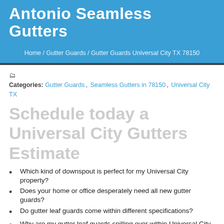Antonio Seamless Gutters
Home / Gutter Guards / Gutter Guards Universal City TX 78150
Categories: Gutter Guards, Seamless Gutters in 78150, Universal City TX
Schedule today a Universal City Gutters Estimate
Which kind of downspout is perfect for my Universal City property?
Does your home or office desperately need all new gutter guards?
Do gutter leaf guards come within different specifications?
Why are my gutter leaf guards spilling over within Universal City, TX 78150?
How much more is it for leaf protection to be attached with my...